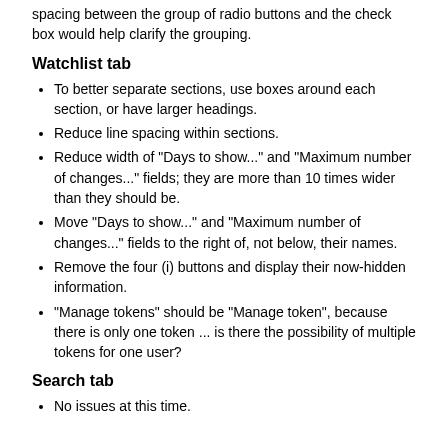spacing between the group of radio buttons and the check box would help clarify the grouping.
Watchlist tab
To better separate sections, use boxes around each section, or have larger headings.
Reduce line spacing within sections.
Reduce width of "Days to show..." and "Maximum number of changes..." fields; they are more than 10 times wider than they should be.
Move "Days to show..." and "Maximum number of changes..." fields to the right of, not below, their names.
Remove the four (i) buttons and display their now-hidden information.
"Manage tokens" should be "Manage token", because there is only one token ... is there the possibility of multiple tokens for one user?
Search tab
No issues at this time.